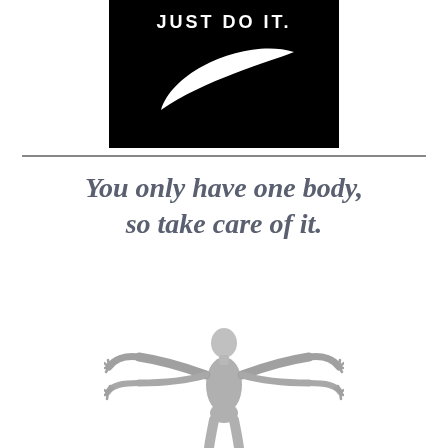[Figure (logo): Nike 'Just Do It' logo on black background with white swoosh and white text 'JUST DO IT.' at the top]
You only have one body, so take care of it.
[Figure (illustration): Grayscale 3D rendered human figure with arms outstretched in a Vitruvian-man-like pose, viewed from slightly above, on white background]